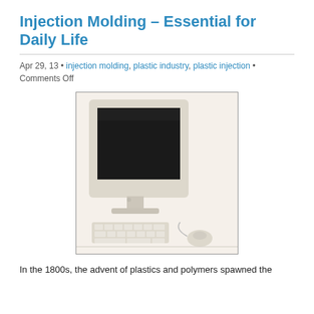Injection Molding – Essential for Daily Life
Apr 29, 13 • injection molding, plastic industry, plastic injection • Comments Off
[Figure (photo): A white CRT computer monitor with a keyboard and mouse on a desk, shown against a white background.]
In the 1800s, the advent of plastics and polymers spawned the